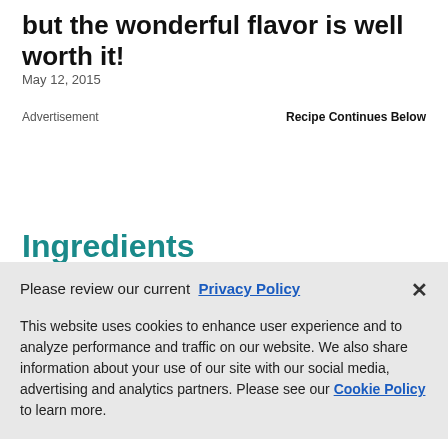but the wonderful flavor is well worth it!
May 12, 2015
Advertisement
Recipe Continues Below
Ingredients
1 lb (500 g) boneless beef top round steak
Please review our current Privacy Policy

This website uses cookies to enhance user experience and to analyze performance and traffic on our website. We also share information about your use of our site with our social media, advertising and analytics partners. Please see our Cookie Policy to learn more.